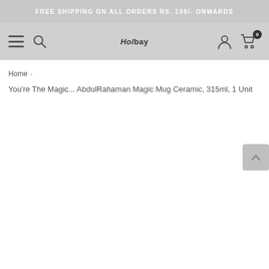FREE SHIPPING ON ALL ORDERS RS. 199/- ONWARDS
[Figure (screenshot): Navigation bar with hamburger menu icon, search icon, Holbay logo, user account icon, and shopping cart icon with badge showing 0]
Home
You're The Magic... AbdulRahaman Magic Mug Ceramic, 315ml, 1 Unit
[Figure (other): Back to top button with upward chevron arrow]